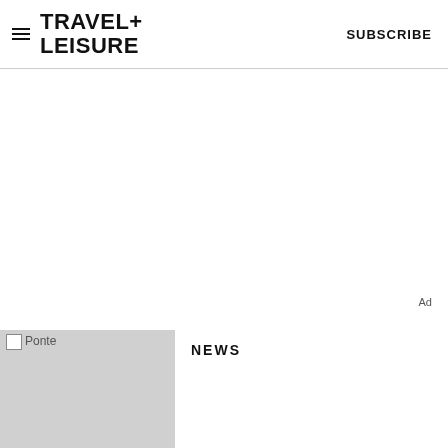TRAVEL+LEISURE  SUBSCRIBE
Ad
[Figure (photo): Thumbnail image placeholder labeled 'Ponte']
NEWS